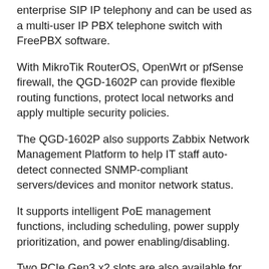enterprise SIP IP telephony and can be used as a multi-user IP PBX telephone switch with FreePBX software.
With MikroTik RouterOS, OpenWrt or pfSense firewall, the QGD-1602P can provide flexible routing functions, protect local networks and apply multiple security policies.
The QGD-1602P also supports Zabbix Network Management Platform to help IT staff auto-detect connected SNMP-compliant servers/devices and monitor network status.
It supports intelligent PoE management functions, including scheduling, power supply prioritization, and power enabling/disabling.
Two PCIe Gen3 x2 slots are also available for expanding core functionality by adding 10GbE Network Cards, QM2 Expansion Cards, USB 3.2 Gen...